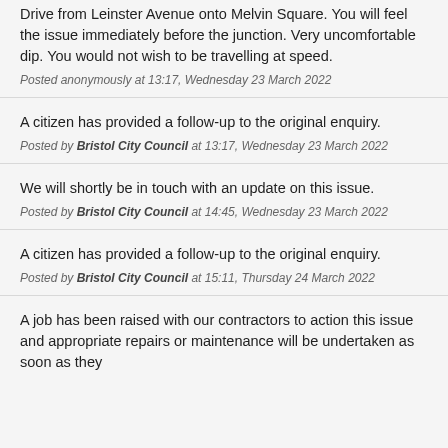Drive from Leinster Avenue onto Melvin Square. You will feel the issue immediately before the junction. Very uncomfortable dip. You would not wish to be travelling at speed.
Posted anonymously at 13:17, Wednesday 23 March 2022
A citizen has provided a follow-up to the original enquiry.
Posted by Bristol City Council at 13:17, Wednesday 23 March 2022
We will shortly be in touch with an update on this issue.
Posted by Bristol City Council at 14:45, Wednesday 23 March 2022
A citizen has provided a follow-up to the original enquiry.
Posted by Bristol City Council at 15:11, Thursday 24 March 2022
A job has been raised with our contractors to action this issue and appropriate repairs or maintenance will be undertaken as soon as they...